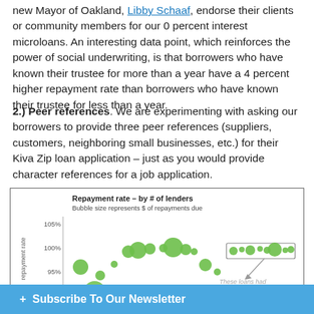new Mayor of Oakland, Libby Schaaf, endorse their clients or community members for our 0 percent interest microloans. An interesting data point, which reinforces the power of social underwriting, is that borrowers who have known their trustee for more than a year have a 4 percent higher repayment rate than borrowers who have known their trustee for less than a year.
2.) Peer references. We are experimenting with asking our borrowers to provide three peer references (suppliers, customers, neighboring small businesses, etc.) for their Kiva Zip loan application – just as you would provide character references for a job application.
[Figure (continuous-plot): Bubble chart titled 'Repayment rate – by # of lenders'. Subtitle: 'Bubble size represents $ of repayments due'. Y-axis shows repayment rate from ~90% to 105%. X-axis shows number of lenders. Green bubbles of varying sizes scattered across the chart showing generally upward trend. A highlighted box groups several bubbles at high lender counts near 100% repayment rate. Arrow points to annotation 'These loans had...']
+ Subscribe To Our Newsletter